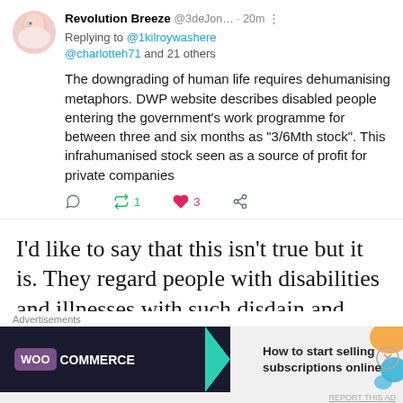[Figure (screenshot): Screenshot of a tweet from Revolution Breeze replying to @1kilroywashere @charlotteh71 and 21 others, with tweet text about DWP website describing disabled people as '3/6Mth stock', posted 20 minutes ago, with 1 retweet and 3 likes]
I'd like to say that this isn't true but it is. They regard people with disabilities and illnesses with such disdain and hate that many find it
[Figure (screenshot): Advertisement banner for WooCommerce: 'How to start selling subscriptions online']